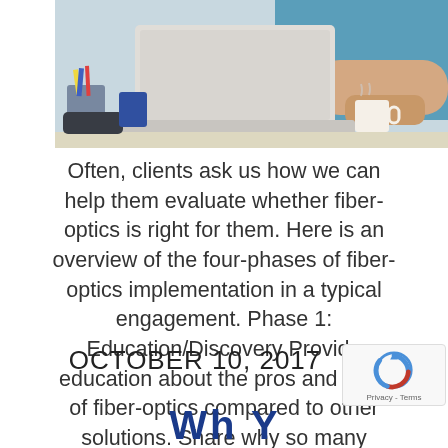[Figure (photo): Partial photo of a woman in a blue top working on a laptop at a desk, with office supplies visible in the foreground and a white coffee mug.]
Often, clients ask us how we can help them evaluate whether fiber-optics is right for them. Here is an overview of the four-phases of fiber-optics implementation in a typical engagement. Phase 1: Education/Discovery Provide education about the pros and cons of fiber-optics compared to other solutions. Share why so many companies are transitioning to fiber-optics. [...]
OCTOBER 10, 2017
[Figure (logo): reCAPTCHA badge with logo and Privacy - Terms text]
Wh Y